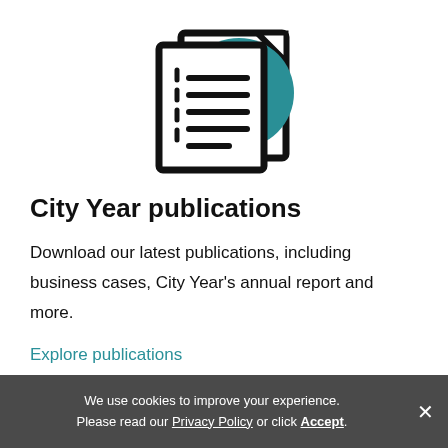[Figure (illustration): Icon of two overlapping document pages with a teal circle in the background containing horizontal lines representing text]
City Year publications
Download our latest publications, including business cases, City Year's annual report and more.
Explore publications
We use cookies to improve your experience. Please read our Privacy Policy or click Accept.